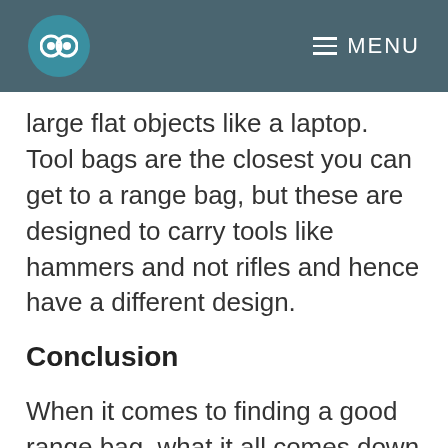MENU
large flat objects like a laptop. Tool bags are the closest you can get to a range bag, but these are designed to carry tools like hammers and not rifles and hence have a different design.
Conclusion
When it comes to finding a good range bag, what it all comes down to is how you intend to use the bag and the activities you will be engaging in. At the end of the day, however, you shouldn't have to pay an arm and a leg for a range bag since there are so many high-quality bags on the market that are affordable.